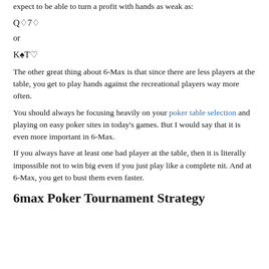expect to be able to turn a profit with hands as weak as:
Q♦7♦
or
K♠T♥
The other great thing about 6-Max is that since there are less players at the table, you get to play hands against the recreational players way more often.
You should always be focusing heavily on your poker table selection and playing on easy poker sites in today's games. But I would say that it is even more important in 6-Max.
If you always have at least one bad player at the table, then it is literally impossible not to win big even if you just play like a complete nit. And at 6-Max, you get to bust them even faster.
6max Poker Tournament Strategy